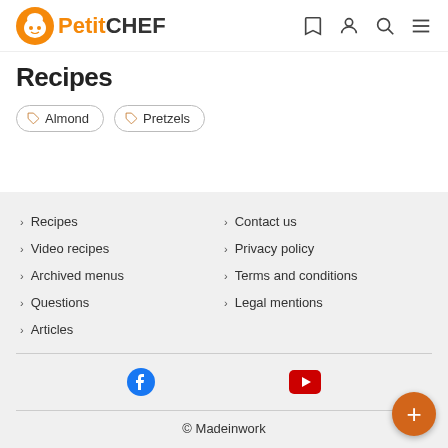PetitCHEF
Recipes
Almond
Pretzels
> Recipes
> Video recipes
> Archived menus
> Questions
> Articles
> Contact us
> Privacy policy
> Terms and conditions
> Legal mentions
© Madeinwork